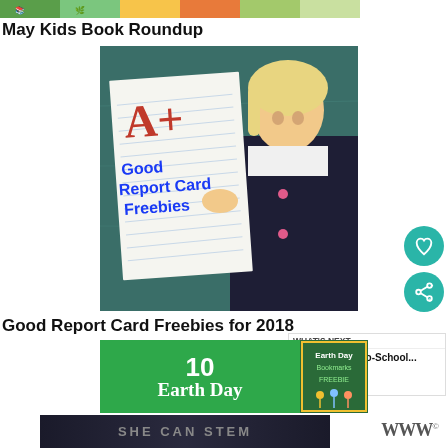[Figure (photo): Colorful children's book covers strip at top]
May Kids Book Roundup
[Figure (photo): Young blonde girl holding a paper with A+ and 'Good Report Card Freebies' written on it, in front of a chalkboard]
Good Report Card Freebies for 2018
[Figure (photo): What's Next panel with Back-to-School thumbnail]
[Figure (photo): Green graphic reading '10 Earth Day' with bookmarks freebie thumbnail]
[Figure (photo): SHE CAN STEM dark banner at bottom]